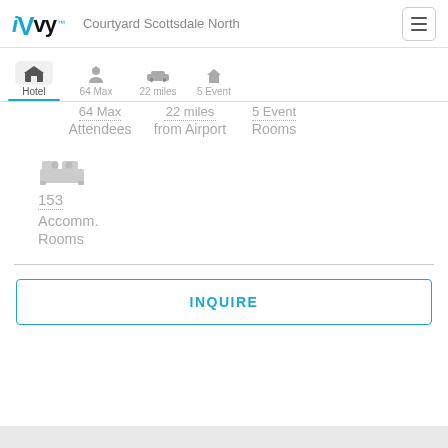iVvy | Courtyard Scottsdale North
Hotel | 64 Max Attendees | 22 miles from Airport | 5 Event Rooms
153 Accomm. Rooms
INQUIRE